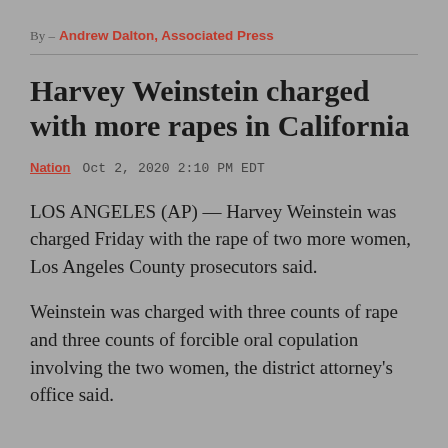By – Andrew Dalton, Associated Press
Harvey Weinstein charged with more rapes in California
Nation  Oct 2, 2020 2:10 PM EDT
LOS ANGELES (AP) — Harvey Weinstein was charged Friday with the rape of two more women, Los Angeles County prosecutors said.
Weinstein was charged with three counts of rape and three counts of forcible oral copulation involving the two women, the district attorney's office said.